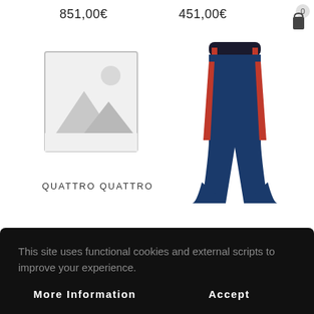851,00€
451,00€
[Figure (other): Placeholder image with mountain/landscape icon inside a grey border frame]
[Figure (photo): Navy blue ski pants with red side stripes and white buttons at waist, on white background]
QUATTRO QUATTRO
This site uses functional cookies and external scripts to improve your experience.
More Information
Accept